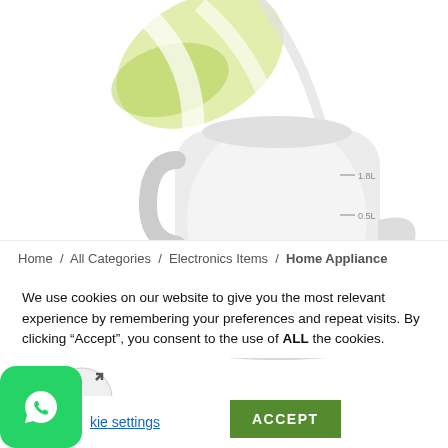[Figure (photo): Haier electric kettle, white with green decorative swirl pattern, showing 1.8L and 0.5L volume markings on the side. The Haier brand name is printed on the lower body of the kettle.]
Home / All Categories / Electronics Items / Home Appliance
We use cookies on our website to give you the most relevant experience by remembering your preferences and repeat visits. By clicking “Accept”, you consent to the use of ALL the cookies.
Cookie settings   ACCEPT